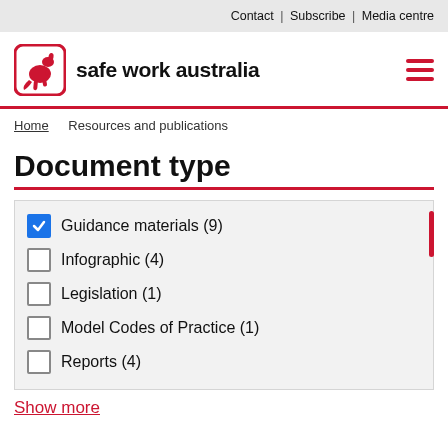Contact | Subscribe | Media centre
[Figure (logo): Safe Work Australia logo with kangaroo icon and text 'safe work australia']
Home > Resources and publications
Document type
☑ Guidance materials (9)
☐ Infographic (4)
☐ Legislation (1)
☐ Model Codes of Practice (1)
☐ Reports (4)
Show more